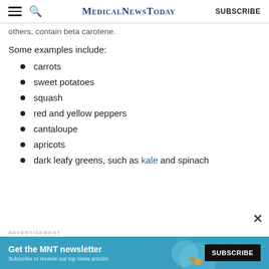MedicalNewsToday SUBSCRIBE
others, contain beta carotene.
Some examples include:
carrots
sweet potatoes
squash
red and yellow peppers
cantaloupe
apricots
dark leafy greens, such as kale and spinach
[Figure (other): Advertisement banner: Get the MNT newsletter — Subscribe to receive our top news articles. SUBSCRIBE button.]